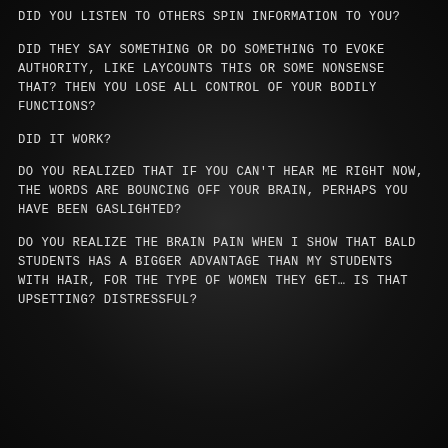DID YOU LISTEN TO OTHERS SPIN INFORMATION TO YOU?
DID THEY SAY SOMETHING OR DO SOMETHING TO EVOKE AUTHORITY, LIKE LAYCOUNTS THIS OR SOME NONSENSE THAT? THEN YOU LOSE ALL CONTROL OF YOUR BODILY FUNCTIONS?
DID IT WORK?
DO YOU REALIZED THAT IF YOU CAN'T HEAR ME RIGHT NOW, THE WORDS ARE BOUNCING OFF YOUR BRAIN, PERHAPS YOU HAVE BEEN GASLIGHTED?
DO YOU REALIZE THE BRAIN PAIN WHEN I SHOW THAT BALD STUDENTS HAS A BIGGER ADVANTAGE THAN MY STUDENTS WITH HAIR, FOR THE TYPE OF WOMEN THEY GET… IS THAT UPSETTING? DISTRESSFUL?